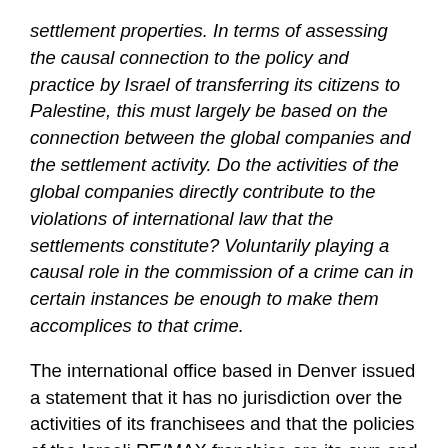settlement properties. In terms of assessing the causal connection to the policy and practice by Israel of transferring its citizens to Palestine, this must largely be based on the connection between the global companies and the settlement activity. Do the activities of the global companies directly contribute to the violations of international law that the settlements constitute? Voluntarily playing a causal role in the commission of a crime can in certain instances be enough to make them accomplices to that crime.
The international office based in Denver issued a statement that it has no jurisdiction over the activities of its franchisees and that the policies of the Israeli RE/MAX franchise are its own and not subject to its control. RE/MAX is generally unresponsive to its critics but in 2014